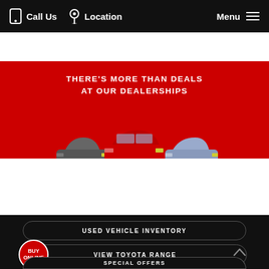Call Us   Location   Menu
[Figure (illustration): Toyota dealership promotional banner with red background showing three Toyota cars and the text THERE'S MORE THAN DEALS AT OUR DEALERSHIPS]
THERE'S MORE THAN DEALS AT OUR DEALERSHIPS
USED VEHICLE INVENTORY
BUY ONLINE
VIEW TOYOTA RANGE
SPECIAL OFFERS